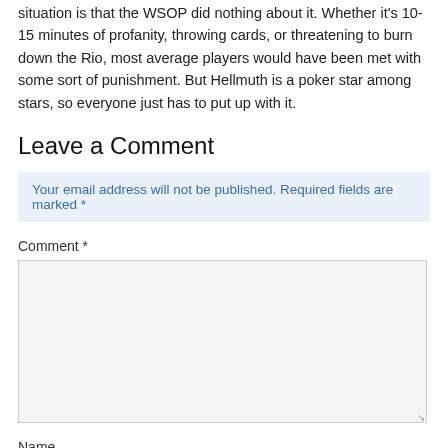situation is that the WSOP did nothing about it. Whether it's 10-15 minutes of profanity, throwing cards, or threatening to burn down the Rio, most average players would have been met with some sort of punishment. But Hellmuth is a poker star among stars, so everyone just has to put up with it.
Leave a Comment
Your email address will not be published. Required fields are marked *
Comment *
Name